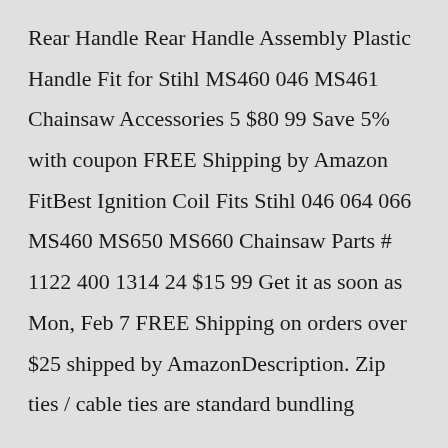Rear Handle Rear Handle Assembly Plastic Handle Fit for Stihl MS460 046 MS461 Chainsaw Accessories 5 $80 99 Save 5% with coupon FREE Shipping by Amazon FitBest Ignition Coil Fits Stihl 046 064 066 MS460 MS650 MS660 Chainsaw Parts # 1122 400 1314 24 $15 99 Get it as soon as Mon, Feb 7 FREE Shipping on orders over $25 shipped by AmazonDescription. Zip ties / cable ties are standard bundling